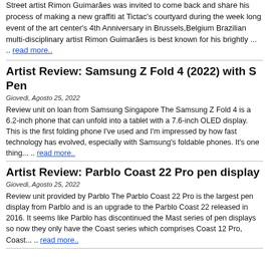Street artist Rimon Guimarães was invited to come back and share his process of making a new graffiti at Tictac's courtyard during the week long event of the art center's 4th Anniversary in Brussels,Belgium Brazilian multi-disciplinary artist Rimon Guimarães is best known for his brightly ... .. read more..
Artist Review: Samsung Z Fold 4 (2022) with S Pen
Giovedi, Agosto 25, 2022
Review unit on loan from Samsung Singapore The Samsung Z Fold 4 is a 6.2-inch phone that can unfold into a tablet with a 7.6-inch OLED display. This is the first folding phone I've used and I'm impressed by how fast technology has evolved, especially with Samsung's foldable phones. It's one thing... .. read more..
Artist Review: Parblo Coast 22 Pro pen display
Giovedi, Agosto 25, 2022
Review unit provided by Parblo The Parblo Coast 22 Pro is the largest pen display from Parblo and is an upgrade to the Parblo Coast 22 released in 2016. It seems like Parblo has discontinued the Mast series of pen displays so now they only have the Coast series which comprises Coast 12 Pro, Coast... .. read more..